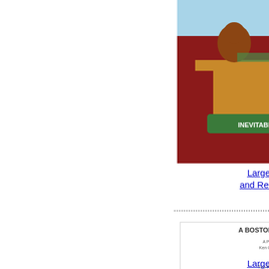[Figure (illustration): Cartoon showing characters at a desk labeled 'INEVITABLE REGIFTING']
Larger Images
and Related Items
[Figure (illustration): A Boston Christmas themed illustration with a Christmas tree made of Boston-themed items and text rows]
Larger Images
Bo
by
Fr
Ins
Inc
Siz
Pa